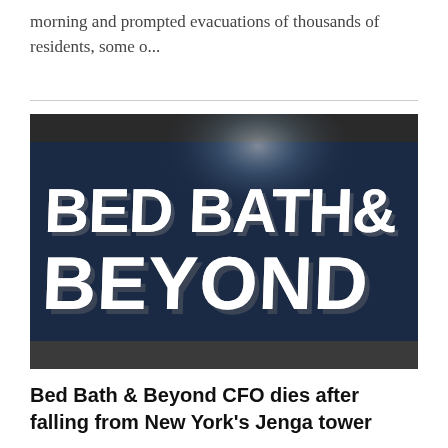morning and prompted evacuations of thousands of residents, some o...
[Figure (photo): Bed Bath & Beyond 3D logo sign with white letters on a dark blue background with a spotlight effect]
Bed Bath & Beyond CFO dies after falling from New York's Jenga tower